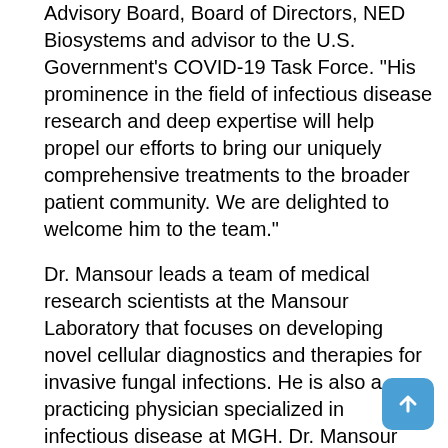Advisory Board, Board of Directors, NED Biosystems and advisor to the U.S. Government's COVID-19 Task Force. "His prominence in the field of infectious disease research and deep expertise will help propel our efforts to bring our uniquely comprehensive treatments to the broader patient community. We are delighted to welcome him to the team."
Dr. Mansour leads a team of medical research scientists at the Mansour Laboratory that focuses on developing novel cellular diagnostics and therapies for invasive fungal infections. He is also a practicing physician specialized in infectious disease at MGH. Dr. Mansour obtained an MD and PhD from Boston University and completed his residency and served as a fellow at the MGH.
About NED Biosystems(TM)
Based in Cambridge, Massachusetts, NED Biosystems is a clinical-stage biotech company developing innovative treatments to provide multifaceted approaches to affect multiple key disease